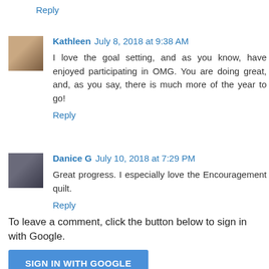Reply
Kathleen July 8, 2018 at 9:38 AM
I love the goal setting, and as you know, have enjoyed participating in OMG. You are doing great, and, as you say, there is much more of the year to go!
Reply
Danice G July 10, 2018 at 7:29 PM
Great progress. I especially love the Encouragement quilt.
Reply
To leave a comment, click the button below to sign in with Google.
SIGN IN WITH GOOGLE